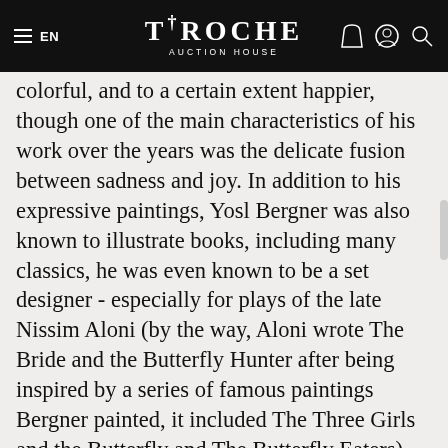EN | TIROCHE AUCTION HOUSE
colorful, and to a certain extent happier, though one of the main characteristics of his work over the years was the delicate fusion between sadness and joy. In addition to his expressive paintings, Yosl Bergner was also known to illustrate books, including many classics, he was even known to be a set designer - especially for plays of the late Nissim Aloni (by the way, Aloni wrote The Bride and the Butterfly Hunter after being inspired by a series of famous paintings Bergner painted, it included The Three Girls and the Butterfly and The Butterfly Eaters). Another prominent motif in Bergner's work is the kitchen grader,